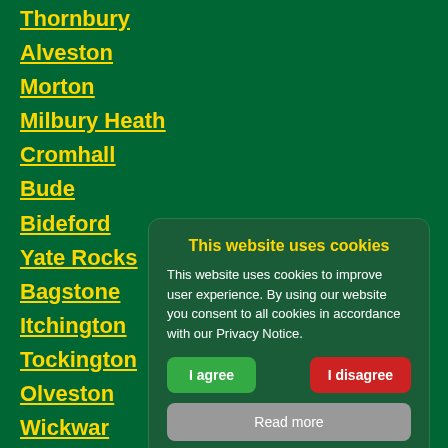Thornbury
Alveston
Morton
Milbury Heath
Cromhall
Bude
Bideford
Yate Rocks
Bagstone
Itchington
Tockington
Olveston
Wickwar
Yate
This website uses cookies
This website uses cookies to improve user experience. By using our website you consent to all cookies in accordance with our Privacy Notice.